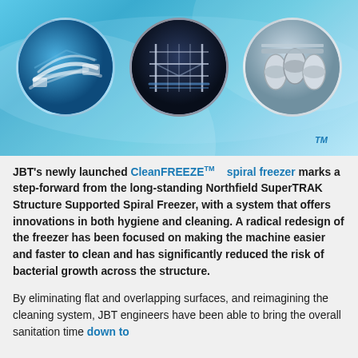[Figure (photo): Three circular images showing industrial spiral freezer components: blue conveyor system, metal structure/frame assembly, and mechanical roller/cylinder components. All set against a light blue background with a TM trademark mark.]
JBT's newly launched CleanFREEZE™ spiral freezer marks a step-forward from the long-standing Northfield SuperTRAK Structure Supported Spiral Freezer, with a system that offers innovations in both hygiene and cleaning. A radical redesign of the freezer has been focused on making the machine easier and faster to clean and has significantly reduced the risk of bacterial growth across the structure.
By eliminating flat and overlapping surfaces, and reimagining the cleaning system, JBT engineers have been able to bring the overall sanitation time down to